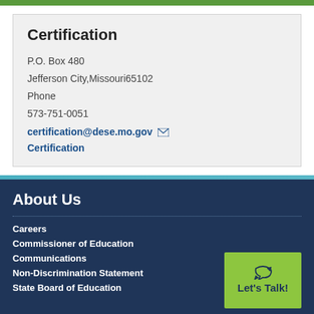Certification
P.O. Box 480
Jefferson City,Missouri65102
Phone
573-751-0051
certification@dese.mo.gov
Certification
About Us
Careers
Commissioner of Education
Communications
Non-Discrimination Statement
State Board of Education
Main Office